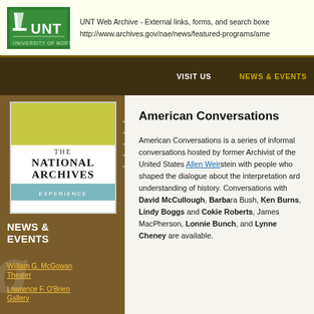UNT Web Archive - External links, forms, and search boxes may not function within this collection. http://www.archives.gov/nae/news/featured-programs/ame
[Figure (logo): UNT logo - green eagle/book mark on green background with white UNT text]
[Figure (logo): The National Archives Experience logo - yellow, white, teal blocks with text]
NEWS & EVENTS
William G. McGowan Theater
Lawrence F. O'Brien Gallery
Visit Us
National Archives News
Previous Featured Programs
American Conversations
American Conversations is a series of informal conversations hosted by former Archivist of the United States Allen Weinstein with people who shaped the dialogue about the interpretation and understanding of history. Conversations with David McCullough, Barbara Bush, Ken Burns, Lindy Boggs and Cokie Roberts, James MacPherson, Lonnie Bunch, and Lynne Cheney are available.